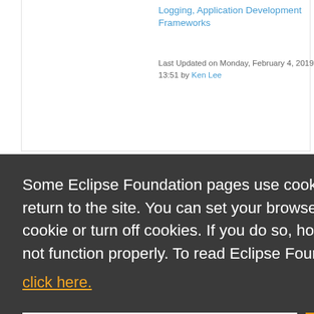Logging, Application Development Frameworks
Last Updated on Monday, February 4, 2019 - 13:51 by Ken Lee
Some Eclipse Foundation pages use cookies to better serve you when you return to the site. You can set your browser to notify you before you receive a cookie or turn off cookies. If you do so, however, some areas of some sites may not function properly. To read Eclipse Foundation Privacy Policy
click here.
Decline
Allow cookies